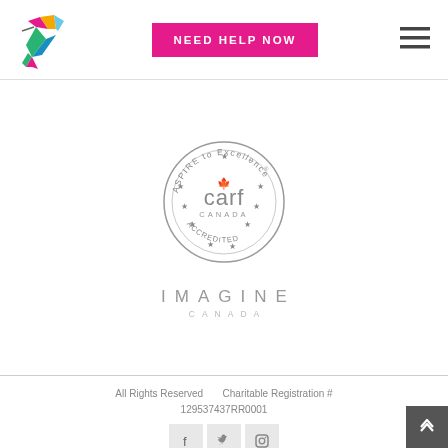[Figure (logo): Colourful hummingbird logo]
NEED HELP NOW
[Figure (logo): Hamburger menu icon (three horizontal lines)]
[Figure (logo): CARF Canada Accredited seal - ASPIRE to Excellence]
[Figure (logo): Imagine Canada logo]
All Rights Reserved     Charitable Registration # 129537437RR0001
[Figure (other): Social media icons: Facebook, Twitter, Instagram]